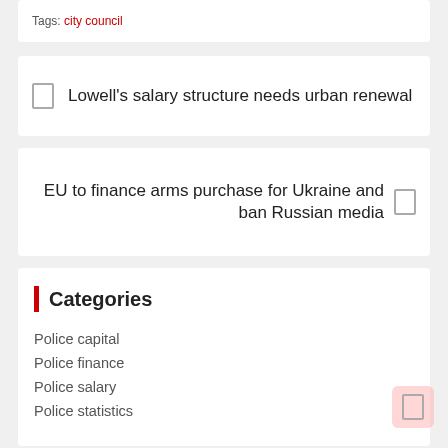Tags: city council
Lowell's salary structure needs urban renewal
EU to finance arms purchase for Ukraine and ban Russian media
Categories
Police capital
Police finance
Police salary
Police statistics